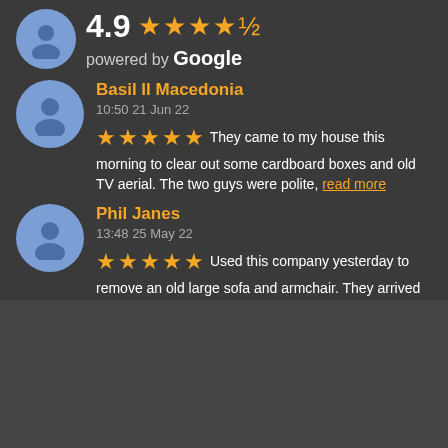4.9 ★★★★½ powered by Google
Basil II Macedonia
10:50 21 Jun 22
★★★★★ They came to my house this morning to clear out some cardboard boxes and old TV aerial. The two guys were polite, read more
Phil Janes
13:48 25 May 22
★★★★★ Used this company yesterday to remove an old large sofa and armchair. They arrived on time and removed my items with read more
Steve Rogers